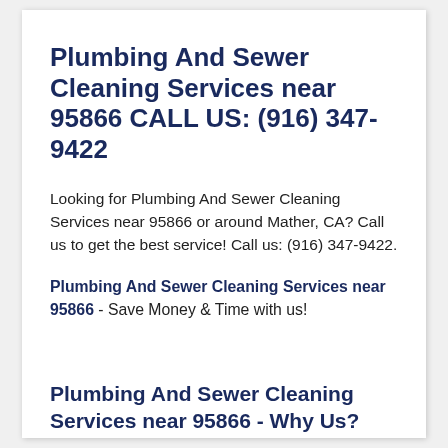Plumbing And Sewer Cleaning Services near 95866 CALL US: (916) 347-9422
Looking for Plumbing And Sewer Cleaning Services near 95866 or around Mather, CA? Call us to get the best service! Call us: (916) 347-9422.
Plumbing And Sewer Cleaning Services near 95866 - Save Money & Time with us!
Plumbing And Sewer Cleaning Services near 95866 - Why Us?
Good Reputation.